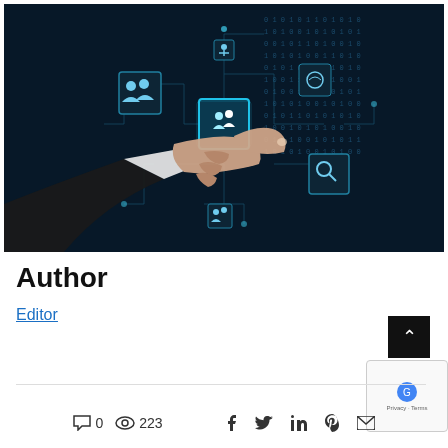[Figure (photo): A hand in a business suit pointing at a glowing digital circuit board interface with icons representing people/users, connected by circuit-like lines on a dark teal/navy digital background with binary code]
Author
Editor
0  223  f  twitter  in  pinterest  email